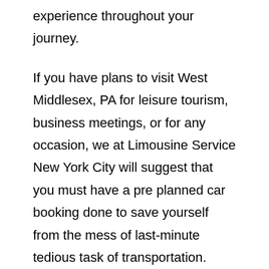experience throughout your journey.
If you have plans to visit West Middlesex, PA for leisure tourism, business meetings, or for any occasion, we at Limousine Service New York City will suggest that you must have a pre planned car booking done to save yourself from the mess of last-minute tedious task of transportation.
With New York Limo service, you get the assured comfortable, luxurious, and stress-free ride. Limo service New York City gives you the most reliable, decent, and prompt chauffeur-driven fascinating car rental service on the streets of West Middlesex, PA.
It makes a great sense to visit the city most